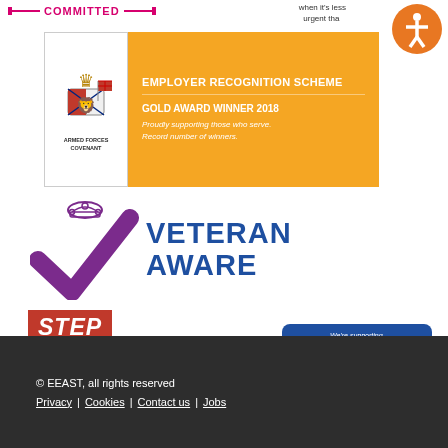[Figure (logo): COMMITTED text with pink lines either side]
when it's less urgent tha...
[Figure (logo): Accessibility icon - orange circle with white person figure]
[Figure (logo): Armed Forces Covenant Employer Recognition Scheme Gold Award Winner 2018 badge with covenant logo]
[Figure (logo): Veteran Aware logo with purple checkmark and crown, blue bold text]
[Figure (logo): Step Into Health logo with red, purple and blue banner]
[Figure (logo): Mind Blue Light Programme supporting badge on dark blue background]
© EEAST, all rights reserved
Privacy | Cookies | Contact us | Jobs